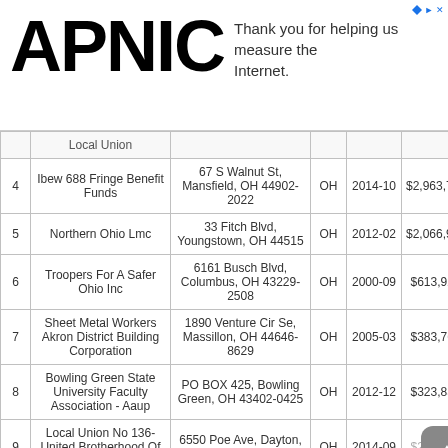APNIC — Thank you for helping us measure the Internet.
|  | Local Union |  |  |  |  |
| --- | --- | --- | --- | --- | --- |
| 4 | Ibew 688 Fringe Benefit Funds | 67 S Walnut St, Mansfield, OH 44902-2022 | OH | 2014-10 | $2,963,756 |
| 5 | Northern Ohio Lmc | 33 Fitch Blvd, Youngstown, OH 44515 | OH | 2012-02 | $2,066,956 |
| 6 | Troopers For A Safer Ohio Inc | 6161 Busch Blvd, Columbus, OH 43229-2508 | OH | 2000-09 | $613,925 |
| 7 | Sheet Metal Workers Akron District Building Corporation | 1890 Venture Cir Se, Massillon, OH 44646-8629 | OH | 2005-03 | $383,761 |
| 8 | Bowling Green State University Faculty Association - Aaup | PO BOX 425, Bowling Green, OH 43402-0425 | OH | 2012-12 | $323,850 |
| 9 | Local Union No 136-United Brotherhood Of Carpenters & Joiner | 6550 Poe Ave, Dayton, OH 45414-2527 | OH | 2014-09 | $280,067 |